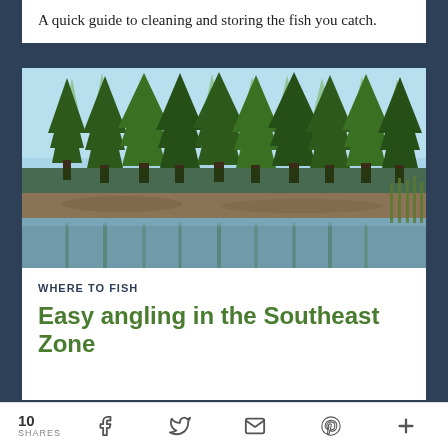A quick guide to cleaning and storing the fish you catch.
[Figure (photo): A forest scene with tall pine/fir trees reflected in a calm lake or pond foreground with muddy shoreline and reeds]
WHERE TO FISH
Easy angling in the Southeast Zone
10 SHARES [social share icons: Facebook, Twitter, Email, Pinterest, More]